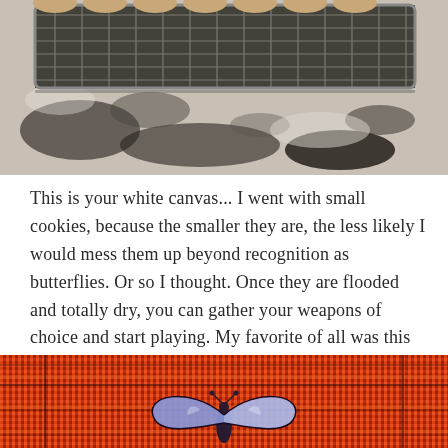[Figure (photo): Cookies with white icing on a wire cooling rack over a speckled granite countertop, viewed from the side.]
This is your white canvas... I went with small cookies, because the smaller they are, the less likely I would mess them up beyond recognition as butterflies. Or so I thought. Once they are flooded and totally dry, you can gather your weapons of choice and start playing. My favorite of all was this blue baby. Reminds me of some that used to be common in Brazil.
[Figure (photo): Close-up of a blue butterfly cookie decoration on a red and orange woven fabric background, showing blue glazed butterfly wings with dark outlines.]